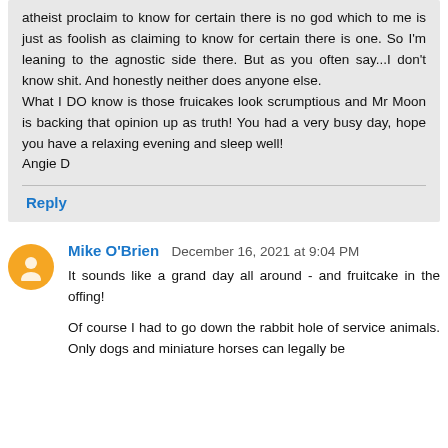atheist proclaim to know for certain there is no god which to me is just as foolish as claiming to know for certain there is one. So I'm leaning to the agnostic side there. But as you often say...I don't know shit. And honestly neither does anyone else.
What I DO know is those fruicakes look scrumptious and Mr Moon is backing that opinion up as truth! You had a very busy day, hope you have a relaxing evening and sleep well!
Angie D
Reply
Mike O'Brien  December 16, 2021 at 9:04 PM
It sounds like a grand day all around - and fruitcake in the offing!
Of course I had to go down the rabbit hole of service animals. Only dogs and miniature horses can legally be